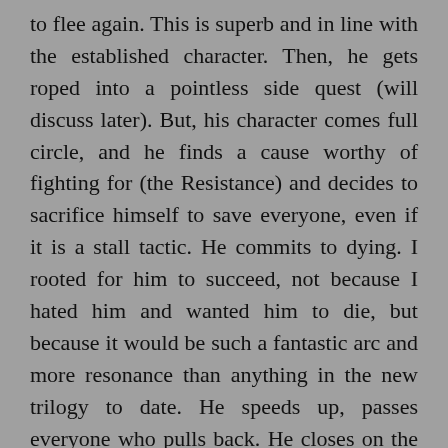to flee again. This is superb and in line with the established character. Then, he gets roped into a pointless side quest (will discuss later). But, his character comes full circle, and he finds a cause worthy of fighting for (the Resistance) and decides to sacrifice himself to save everyone, even if it is a stall tactic. He commits to dying. I rooted for him to succeed, not because I hated him and wanted him to die, but because it would be such a fantastic arc and more resonance than anything in the new trilogy to date. He speeds up, passes everyone who pulls back. He closes on the death ray (I forgot the name), and despite the pain, he endures. He's closing. This is going to be amazing! Epic! And then fucking Rose, out of nowhere, slams into him, stopping him from saving everyone. Way to go Disney and Rian Johnson!